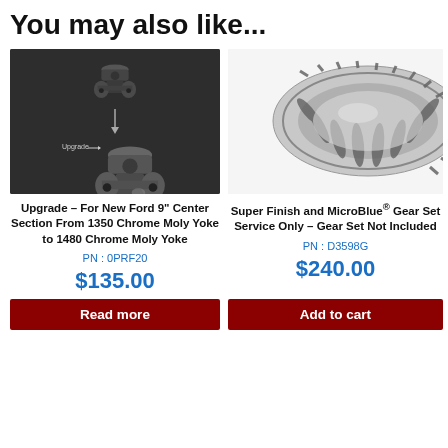You may also like...
[Figure (photo): Product photo of two chrome moly yoke parts on dark background with 'Upgrade' label and arrow]
[Figure (photo): Product photo of a ring gear (bevel gear set) on white background]
Upgrade – For New Ford 9" Center Section From 1350 Chrome Moly Yoke to 1480 Chrome Moly Yoke
PN : 0PRF20
$135.00
Super Finish and MicroBlue® Gear Set Service Only – Gear Set Not Included
PN : D3598G
$240.00
Read more
Add to cart